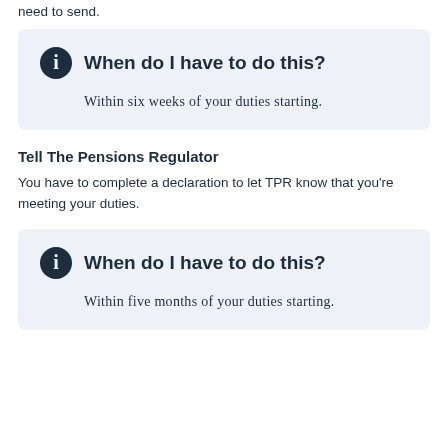need to send.
[Figure (infographic): Info box with 'i' icon and heading 'When do I have to do this?' and body text 'Within six weeks of your duties starting.']
Tell The Pensions Regulator
You have to complete a declaration to let TPR know that you're meeting your duties.
[Figure (infographic): Info box with 'i' icon and heading 'When do I have to do this?' and body text 'Within five months of your duties starting.']